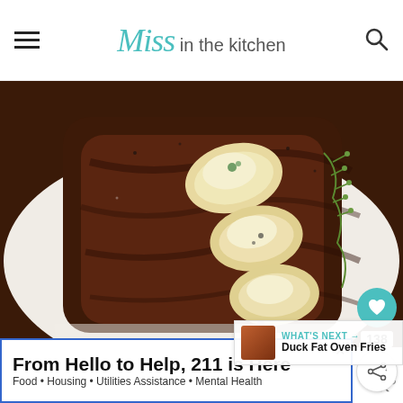Miss in the kitchen
[Figure (photo): Close-up photo of a grilled steak topped with three large shrimp on a white plate, garnished with fresh thyme sprigs and a bluebell flower. The steak has a well-seasoned dark crust.]
138
WHAT'S NEXT → Duck Fat Oven Fries
From Hello to Help, 211 is Here
Food • Housing • Utilities Assistance • Mental Health